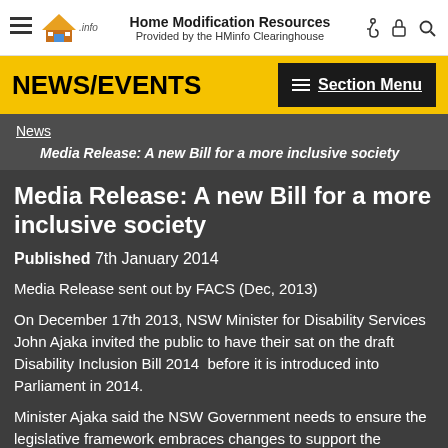Home Modification Resources
Provided by the HMinfo Clearinghouse
NEWS/EVENTS
News
Media Release: A new Bill for a more inclusive society
Media Release: A new Bill for a more inclusive society
Published   7th January 2014
Media Release sent out by FACS (Dec, 2013)
On December 17th 2013, NSW Minister for Disability Services John Ajaka invited the public to have their sat on the draft Disability Inclusion Bill 2014  before it is introduced into Parliament in 2014.
Minister Ajaka said the NSW Government needs to ensure the legislative framework embraces changes to support the individual rights of people, while providing necessary